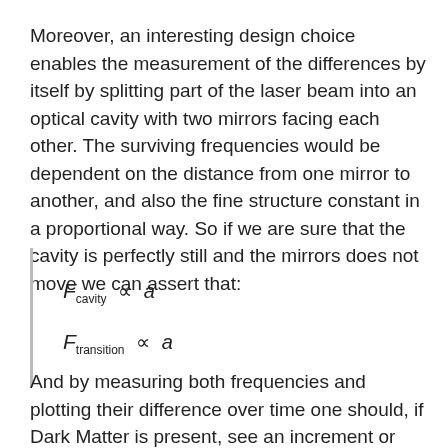Moreover, an interesting design choice enables the measurement of the differences by itself by splitting part of the laser beam into an optical cavity with two mirrors facing each other. The surviving frequencies would be dependent on the distance from one mirror to another, and also the fine structure constant in a proportional way. So if we are sure that the cavity is perfectly still and the mirrors does not move we can assert that:
And by measuring both frequencies and plotting their difference over time one should, if Dark Matter is present, see an increment or decrement over time since